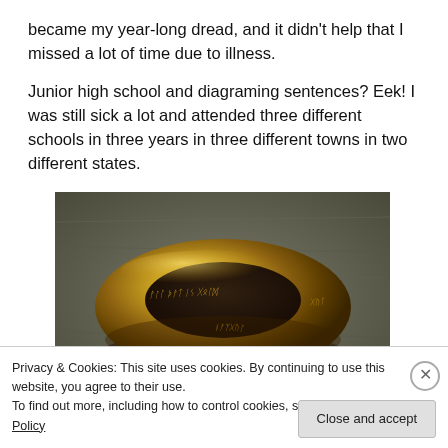became my year-long dread, and it didn't help that I missed a lot of time due to illness.
Junior high school and diagraming sentences? Eek! I was still sick a lot and attended three different schools in three years in three different towns in two different states.
[Figure (photo): A gold ring (One Ring from Lord of the Rings) with Elvish inscription, resting on a stone surface.]
Privacy & Cookies: This site uses cookies. By continuing to use this website, you agree to their use.
To find out more, including how to control cookies, see here: Cookie Policy
Close and accept